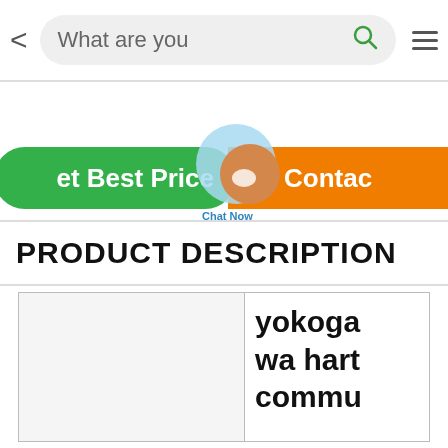< What are you [search box] Q ≡
et Best Price
Chat Now
✉ Contac
PRODUCT DESCRIPTION
|  | yokoga
wa hart
commu |